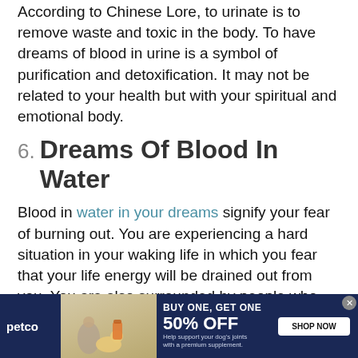According to Chinese Lore, to urinate is to remove waste and toxic in the body. To have dreams of blood in urine is a symbol of purification and detoxification. It may not be related to your health but with your spiritual and emotional body.
6. Dreams Of Blood In Water
Blood in water in your dreams signify your fear of burning out. You are experiencing a hard situation in your waking life in which you fear that your life energy will be drained out from you. You are also surrounded by people who easily stressed you out.
[Figure (infographic): Petco advertisement banner: BUY ONE, GET ONE 50% OFF. Help support your dog's joints with a premium supplement. SHOP NOW button. Image of woman with golden retriever dog and supplement product.]